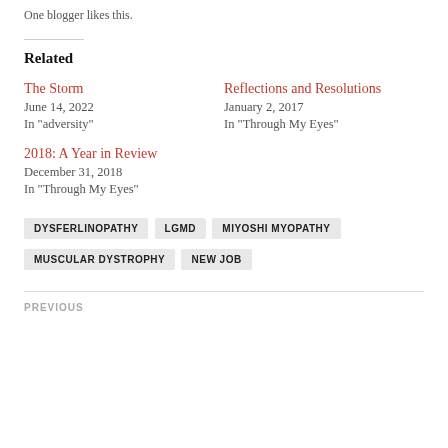One blogger likes this.
Related
The Storm
June 14, 2022
In "adversity"
Reflections and Resolutions
January 2, 2017
In "Through My Eyes"
2018: A Year in Review
December 31, 2018
In "Through My Eyes"
DYSFERLINOPATHY
LGMD
MIYOSHI MYOPATHY
MUSCULAR DYSTROPHY
NEW JOB
PREVIOUS